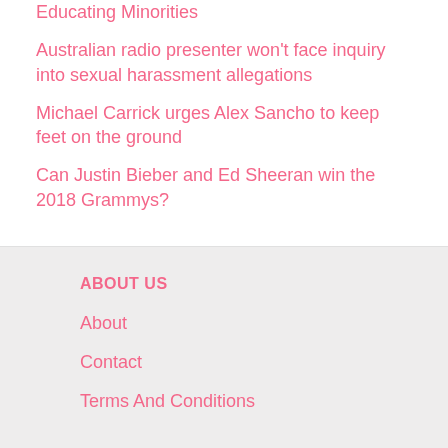Educating Minorities
Australian radio presenter won't face inquiry into sexual harassment allegations
Michael Carrick urges Alex Sancho to keep feet on the ground
Can Justin Bieber and Ed Sheeran win the 2018 Grammys?
ABOUT US
About
Contact
Terms And Conditions